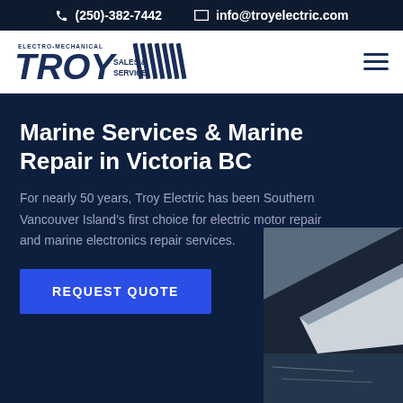(250)-382-7442  info@troyelectric.com
[Figure (logo): Troy Electro-Mechanical Sales & Service logo in dark navy blue with diagonal stripe graphic]
Marine Services & Marine Repair in Victoria BC
For nearly 50 years, Troy Electric has been Southern Vancouver Island's first choice for electric motor repair and marine electronics repair services.
[Figure (photo): Partial view of a boat on water visible at the bottom right of the hero section]
REQUEST QUOTE